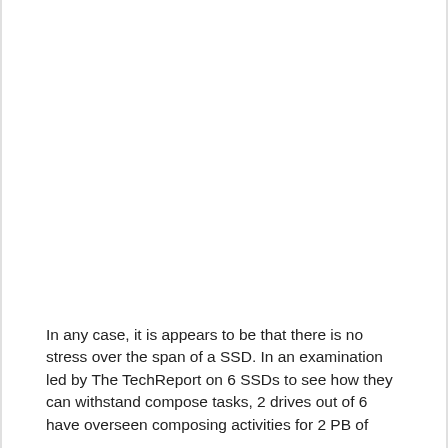In any case, it is appears to be that there is no stress over the span of a SSD. In an examination led by The TechReport on 6 SSDs to see how they can withstand compose tasks, 2 drives out of 6 have overseen composing activities for 2 PB of